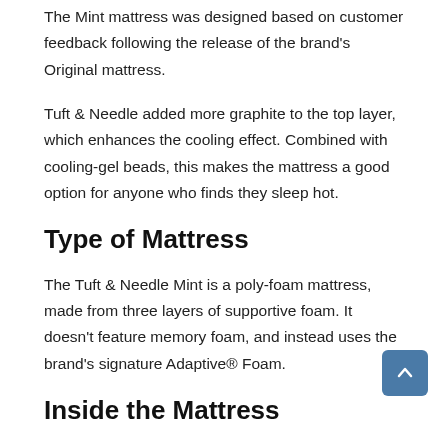The Mint mattress was designed based on customer feedback following the release of the brand's Original mattress.
Tuft & Needle added more graphite to the top layer, which enhances the cooling effect. Combined with cooling-gel beads, this makes the mattress a good option for anyone who finds they sleep hot.
Type of Mattress
The Tuft & Needle Mint is a poly-foam mattress, made from three layers of supportive foam. It doesn't feature memory foam, and instead uses the brand's signature Adaptive® Foam.
Inside the Mattress